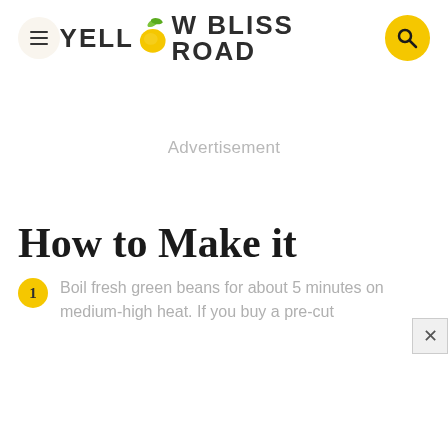YELLOW BLISS ROAD
Advertisement
How to Make it
Boil fresh green beans for about 5 minutes on medium-high heat. If you buy a pre-cut